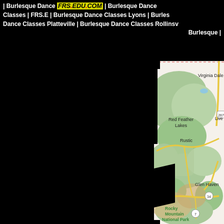| Burlesque Dance Classes | Burlesque Dance Classes | Burlesque Dance Classes | Classes | Burlesque Dance Classes Lyons | Burlesque Dance Classes Platteville | Burlesque Dance Classes Rollinsville | Burlesque |
[Figure (map): Google Maps view showing area around Red Feather Lakes, Rustic, Virginia Dale, Glen Haven, and Rocky Mountain National Park in Colorado, with route 287, 34, and 7 marked.]